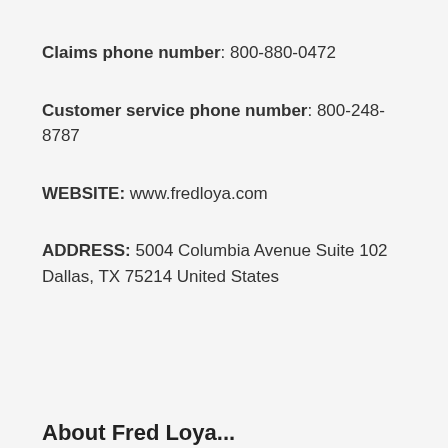Claims phone number: 800-880-0472
Customer service phone number: 800-248-8787
WEBSITE: www.fredloya.com
ADDRESS: 5004 Columbia Avenue Suite 102 Dallas, TX 75214 United States
About Fred Loya...